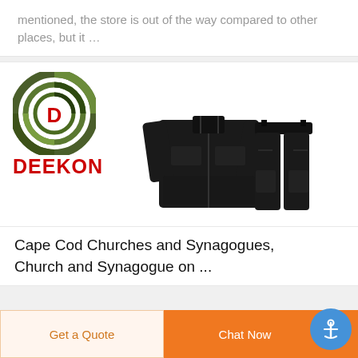mentioned, the store is out of the way compared to other places, but it …
[Figure (logo): Deekon brand logo: circular camouflage target mark with red D in center, and bold red DEEKON text below]
[Figure (photo): Black military-style jacket and black tactical trousers displayed on a white background]
Cape Cod Churches and Synagogues, Church and Synagogue on ...
Get a Quote
Chat Now